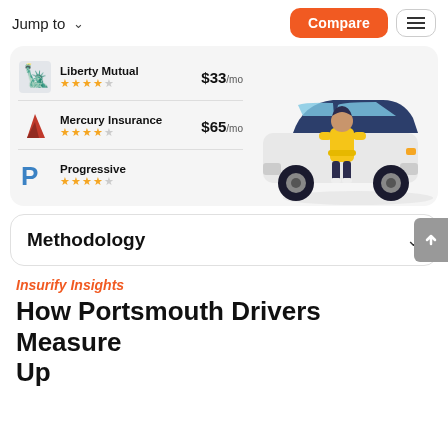Jump to  Compare
[Figure (illustration): Insurance comparison card showing Liberty Mutual ($33/mo, 4 stars), Mercury Insurance ($65/mo, 4 stars), Progressive (4 stars), with an illustration of a person in a yellow jacket standing next to a white SUV.]
Methodology
Insurify Insights
How Portsmouth Drivers Measure Up